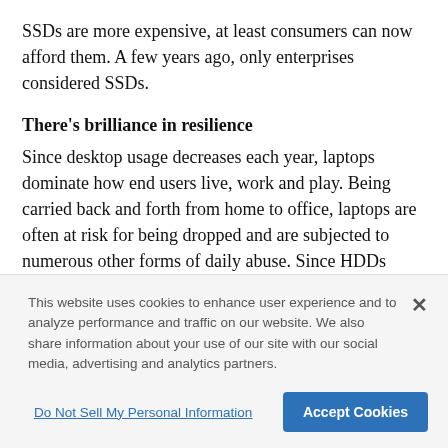SSDs are more expensive, at least consumers can now afford them. A few years ago, only enterprises considered SSDs.
There's brilliance in resilience
Since desktop usage decreases each year, laptops dominate how end users live, work and play. Being carried back and forth from home to office, laptops are often at risk for being dropped and are subjected to numerous other forms of daily abuse. Since HDDs consist of spinning platters with a read head, these
This website uses cookies to enhance user experience and to analyze performance and traffic on our website. We also share information about your use of our site with our social media, advertising and analytics partners.
Do Not Sell My Personal Information
Accept Cookies